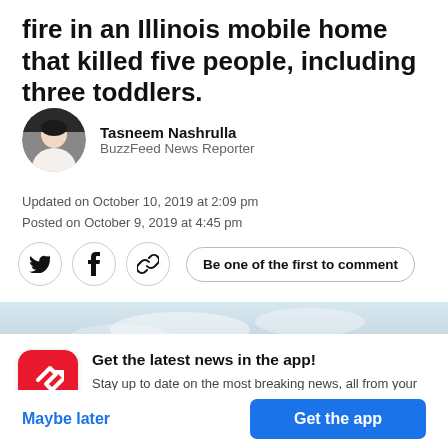fire in an Illinois mobile home that killed five people, including three toddlers.
Tasneem Nashrulla
BuzzFeed News Reporter
Updated on October 10, 2019 at 2:09 pm
Posted on October 9, 2019 at 4:45 pm
[Figure (infographic): Social sharing icons: Twitter bird, Facebook f, chain link. Button: Be one of the first to comment]
[Figure (photo): Outdoor winter scene with overcast sky and bare trees, dark rooftop visible]
Get the latest news in the app!
Stay up to date on the most breaking news, all from your BuzzFeed app.
Maybe later
Get the app